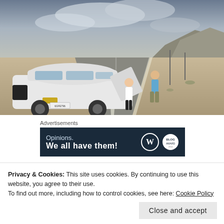[Figure (photo): A white Chevrolet Cruze sedan parked on the side of a desert road. Two people stand near the open car door on a long straight highway stretching into the distance, with arid desert landscape and dramatic cloudy sky in the background.]
Advertisements
[Figure (infographic): Dark navy advertisement banner reading 'Opinions. We all have them!' with WordPress logo and a badge logo on the right side.]
Privacy & Cookies: This site uses cookies. By continuing to use this website, you agree to their use.
To find out more, including how to control cookies, see here: Cookie Policy
Close and accept